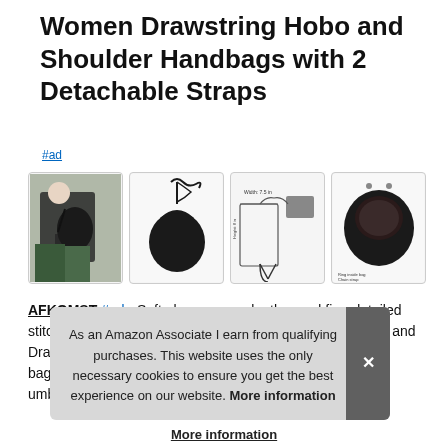Women Drawstring Hobo and Shoulder Handbags with 2 Detachable Straps
#ad
[Figure (photo): Four product photos of a black drawstring hobo handbag: lifestyle photo showing woman carrying it, product shot showing bag and straps, dimension diagram, and interior view.]
AFKOMST #ad - Soft glossy vegan leather and fine-detailed stitching give a classy look. Equipped with silver-hardware and Drawstring closure, this bucket-style bag makes a great day bag, umb...
As an Amazon Associate I earn from qualifying purchases. This website uses the only necessary cookies to ensure you get the best experience on our website. More information
More information